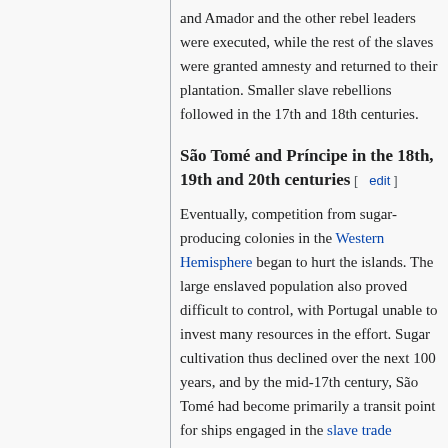and Amador and the other rebel leaders were executed, while the rest of the slaves were granted amnesty and returned to their plantation. Smaller slave rebellions followed in the 17th and 18th centuries.
São Tomé and Príncipe in the 18th, 19th and 20th centuries  [ edit ]
Eventually, competition from sugar-producing colonies in the Western Hemisphere began to hurt the islands. The large enslaved population also proved difficult to control, with Portugal unable to invest many resources in the effort. Sugar cultivation thus declined over the next 100 years, and by the mid-17th century, São Tomé had become primarily a transit point for ships engaged in the slave trade between continental Africa and the Americas.